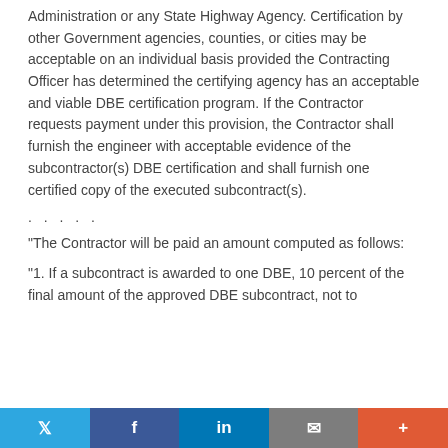Administration or any State Highway Agency. Certification by other Government agencies, counties, or cities may be acceptable on an individual basis provided the Contracting Officer has determined the certifying agency has an acceptable and viable DBE certification program. If the Contractor requests payment under this provision, the Contractor shall furnish the engineer with acceptable evidence of the subcontractor(s) DBE certification and shall furnish one certified copy of the executed subcontract(s).
. . . . .
"The Contractor will be paid an amount computed as follows:
"1. If a subcontract is awarded to one DBE, 10 percent of the final amount of the approved DBE subcontract, not to
Twitter | Facebook | LinkedIn | Email | +